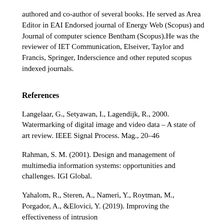authored and co-author of several books. He served as Area Editor in EAI Endorsed journal of Energy Web (Scopus) and Journal of computer science Bentham (Scopus).He was the reviewer of IET Communication, Elseiver, Taylor and Francis, Springer, Inderscience and other reputed scopus indexed journals.
References
Langelaar, G., Setyawan, I., Lagendijk, R., 2000. Watermarking of digital image and video data – A state of art review. IEEE Signal Process. Mag., 20–46
Rahman, S. M. (2001). Design and management of multimedia information systems: opportunities and challenges. IGI Global.
Yahalom, R., Steren, A., Nameri, Y., Roytman, M., Porgador, A., &Elovici, Y. (2019). Improving the effectiveness of intrusion